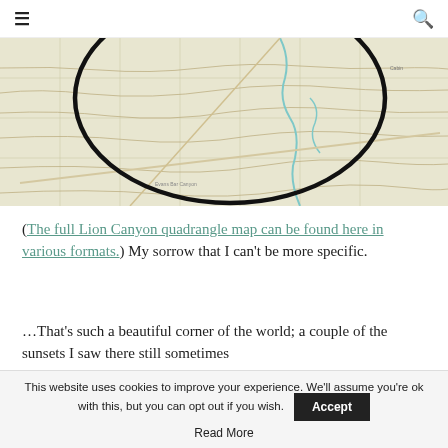≡  [hamburger menu]   [search icon]
[Figure (map): Topographic map (Lion Canyon quadrangle) showing terrain contours, roads, and a large black circle drawn on the map highlighting a specific area.]
(The full Lion Canyon quadrangle map can be found here in various formats.) My sorrow that I can't be more specific.
…That's such a beautiful corner of the world; a couple of the sunsets I saw there still sometimes
This website uses cookies to improve your experience. We'll assume you're ok with this, but you can opt out if you wish.  [Accept]  Read More